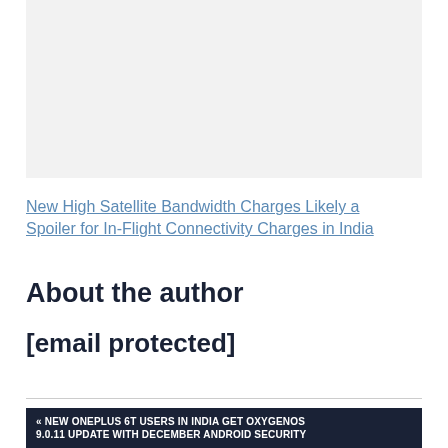[Figure (other): Light gray rectangular image placeholder area]
New High Satellite Bandwidth Charges Likely a Spoiler for In-Flight Connectivity Charges in India
About the author
[email protected]
« NEW ONEPLUS 6T USERS IN INDIA GET OXYGENOS 9.0.11 UPDATE WITH DECEMBER ANDROID SECURITY